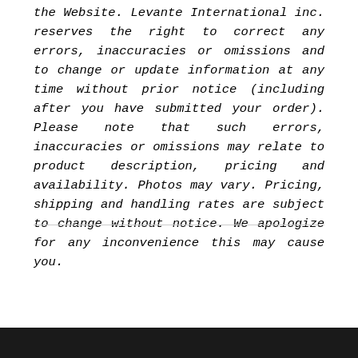the Website. Levante International inc. reserves the right to correct any errors, inaccuracies or omissions and to change or update information at any time without prior notice (including after you have submitted your order). Please note that such errors, inaccuracies or omissions may relate to product description, pricing and availability. Photos may vary. Pricing, shipping and handling rates are subject to change without notice. We apologize for any inconvenience this may cause you.